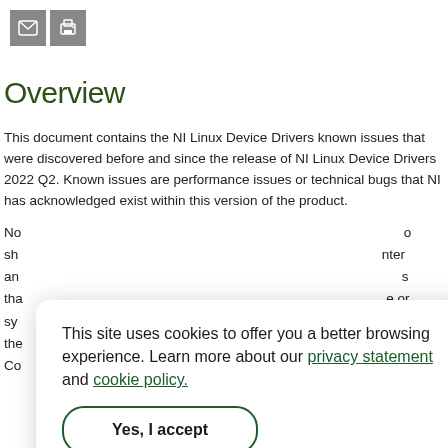[Figure (other): Email and print icon buttons]
Overview
This document contains the NI Linux Device Drivers known issues that were discovered before and since the release of NI Linux Device Drivers 2022 Q2. Known issues are performance issues or technical bugs that NI has acknowledged exist within this version of the product.
No... o sh... inter an... s tha... e or sy... the... or Co...
This site uses cookies to offer you a better browsing experience. Learn more about our privacy statement and cookie policy. Yes, I accept